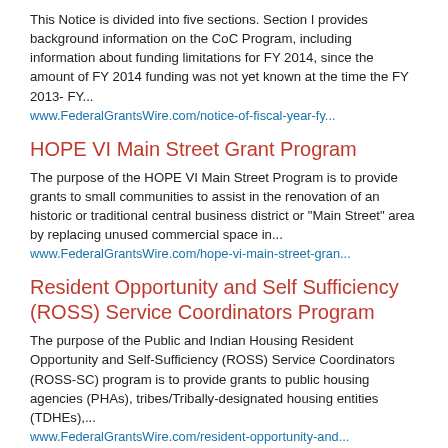This Notice is divided into five sections. Section I provides background information on the CoC Program, including information about funding limitations for FY 2014, since the amount of FY 2014 funding was not yet known at the time the FY 2013- FY...
www.FederalGrantsWire.com/notice-of-fiscal-year-fy...
HOPE VI Main Street Grant Program
The purpose of the HOPE VI Main Street Program is to provide grants to small communities to assist in the renovation of an historic or traditional central business district or "Main Street" area by replacing unused commercial space in...
www.FederalGrantsWire.com/hope-vi-main-street-gran...
Resident Opportunity and Self Sufficiency (ROSS) Service Coordinators Program
The purpose of the Public and Indian Housing Resident Opportunity and Self-Sufficiency (ROSS) Service Coordinators (ROSS-SC) program is to provide grants to public housing agencies (PHAs), tribes/Tribally-designated housing entities (TDHEs),...
www.FederalGrantsWire.com/resident-opportunity-and...